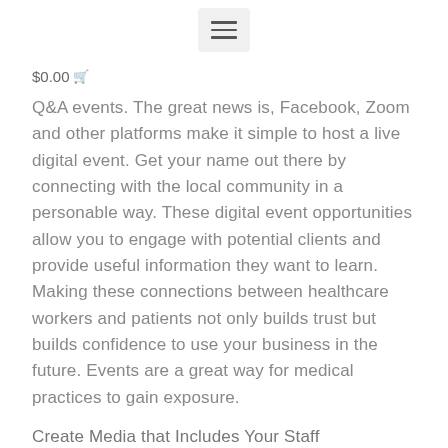≡
$0.00 🛒
Q&A events. The great news is, Facebook, Zoom and other platforms make it simple to host a live digital event. Get your name out there by connecting with the local community in a personable way. These digital event opportunities allow you to engage with potential clients and provide useful information they want to learn. Making these connections between healthcare workers and patients not only builds trust but builds confidence to use your business in the future. Events are a great way for medical practices to gain exposure.
Create Media that Includes Your Staff